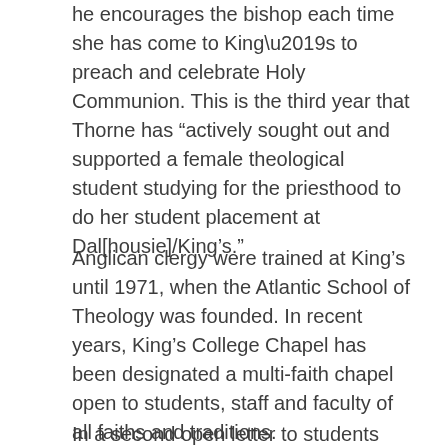he encourages the bishop each time she has come to King’s to preach and celebrate Holy Communion. This is the third year that Thorne has “actively sought out and supported a female theological student studying for the priesthood to do her student placement at Dal[housie]/King’s.”
Anglican clergy were trained at King’s until 1971, when the Atlantic School of Theology was founded. In recent years, King’s College Chapel has been designated a multi-faith chapel open to students, staff and faculty of all faiths and traditions.
In a second open letter to students also